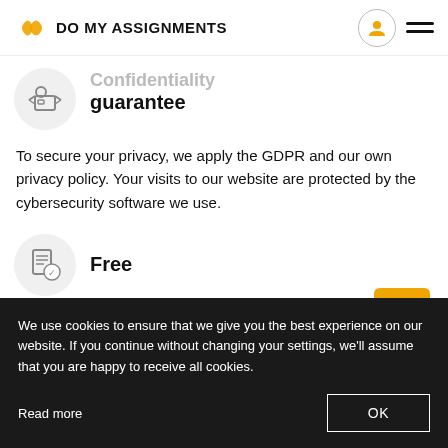DO MY ASSIGNMENTS
Confidentiality guarantee
To secure your privacy, we apply the GDPR and our own privacy policy. Your visits to our website are protected by the cybersecurity software we use.
[Figure (illustration): Yellow speech bubble chat icon]
Free
We use cookies to ensure that we give you the best experience on our website. If you continue without changing your settings, we'll assume that you are happy to receive all cookies.
Read more
OK